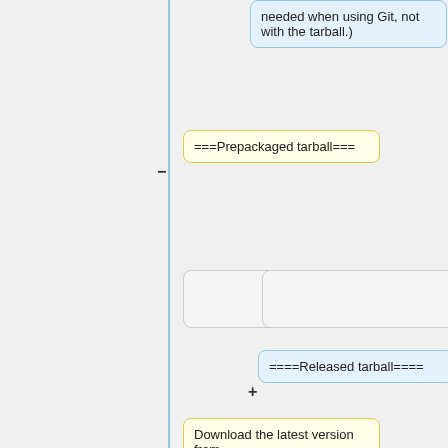needed when using Git, not with the tarball.)
===Prepackaged tarball===
====Released tarball====
Download the latest version from [http://sourceforge.net/projects/hfst/files/], and unzip. Then follow the instructions in the README file, i.e.: